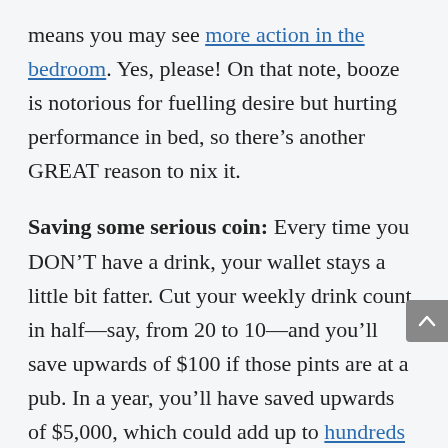means you may see more action in the bedroom. Yes, please! On that note, booze is notorious for fuelling desire but hurting performance in bed, so there’s another GREAT reason to nix it.
Saving some serious coin: Every time you DON’T have a drink, your wallet stays a little bit fatter. Cut your weekly drink count in half—say, from 20 to 10—and you’ll save upwards of $100 if those pints are at a pub. In a year, you’ll have saved upwards of $5,000, which could add up to hundreds of thousands of dollars over your